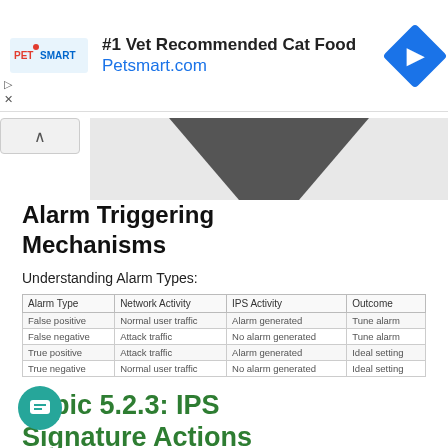[Figure (infographic): PetSmart advertisement banner: #1 Vet Recommended Cat Food, Petsmart.com with PetSmart logo and blue diamond navigation icon]
[Figure (illustration): Partial diagram showing dark geometric shape (partial view, cut off at top)]
Alarm Triggering Mechanisms
Understanding Alarm Types:
| Alarm Type | Network Activity | IPS Activity | Outcome |
| --- | --- | --- | --- |
| False positive | Normal user traffic | Alarm generated | Tune alarm |
| False negative | Attack traffic | No alarm generated | Tune alarm |
| True positive | Attack traffic | Alarm generated | Ideal setting |
| True negative | Normal user traffic | No alarm generated | Ideal setting |
Topic 5.2.3: IPS Signature Actions
Signature Actions